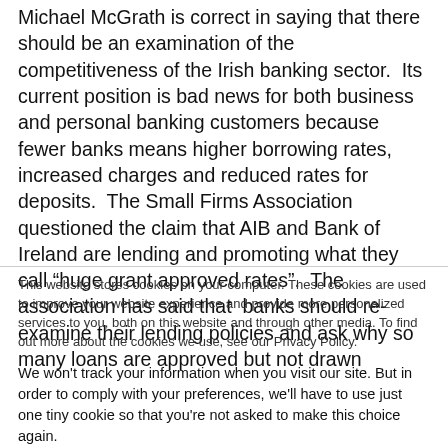Michael McGrath is correct in saying that there should be an examination of the competitiveness of the Irish banking sector.  Its current position is bad news for both business and personal banking customers because fewer banks means higher borrowing rates, increased charges and reduced rates for deposits.  The Small Firms Association questioned the claim that AIB and Bank of Ireland are lending and promoting what they call “huge grant approved rates”.  The association has said that  banks should re-examine their lending policies and ask why so many loans are approved but not drawn
This website stores cookies on your computer. These cookies are used to improve your website experience and provide more personalized services to you, both on this website and through other media. To find out more about the cookies we use, see our Privacy Policy.
We won't track your information when you visit our site. But in order to comply with your preferences, we'll have to use just one tiny cookie so that you're not asked to make this choice again.